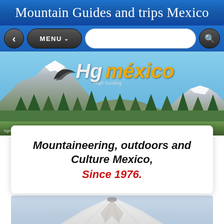Mountain Guides and trips Mexico
[Figure (screenshot): Navigation bar with back button, MENU dropdown, search input, and search button on blue background]
[Figure (photo): Hero banner showing mountain landscape with snow-capped volcanoes (Popocatepetl and Iztaccihuatl) with trees in foreground, overlaid with Hg méxico (High Guiding) logo]
Mountaineering, outdoors and Culture Mexico, Since 1976.
[Figure (photo): Aerial or ground-level photo of a snow-covered volcanic mountain (likely Popocatepetl) showing the crater and slopes against a hazy sky]